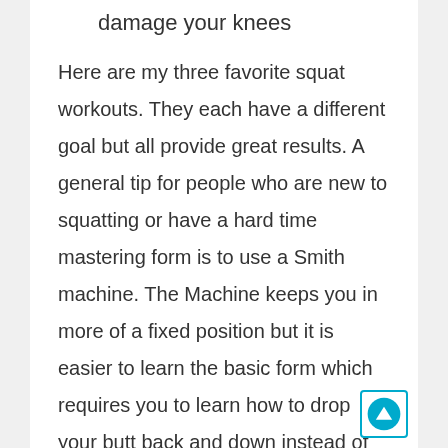damage your knees
Here are my three favorite squat workouts. They each have a different goal but all provide great results. A general tip for people who are new to squatting or have a hard time mastering form is to use a Smith machine. The Machine keeps you in more of a fixed position but it is easier to learn the basic form which requires you to learn how to drop your butt back and down instead of leaning forward. Proper form prevents your knees from traveling forward over your feet which